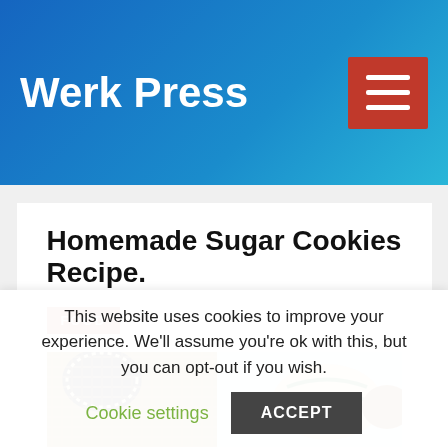Werk Press
Homemade Sugar Cookies Recipe.
FOOD
[Figure (photo): Photo of decorated sugar cookies in a basket with light blue background]
This website uses cookies to improve your experience. We'll assume you're ok with this, but you can opt-out if you wish.
Cookie settings   ACCEPT